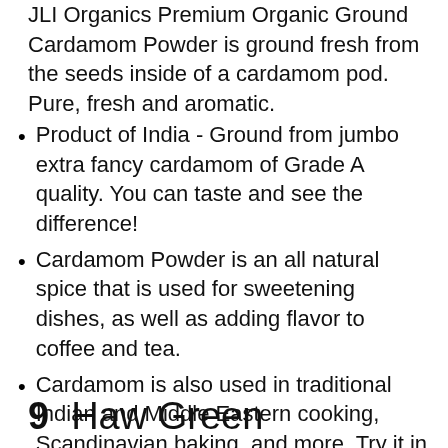JLI Organics Premium Organic Ground Cardamom Powder is ground fresh from the seeds inside of a cardamom pod. Pure, fresh and aromatic.
Product of India - Ground from jumbo extra fancy cardamom of Grade A quality. You can taste and see the difference!
Cardamom Powder is an all natural spice that is used for sweetening dishes, as well as adding flavor to coffee and tea.
Cardamom is also used in traditional Indian and Middle Eastern cooking, Scandinavian baking, and more. Try it in Masala Chai for a unique flavor
9   Haw Green